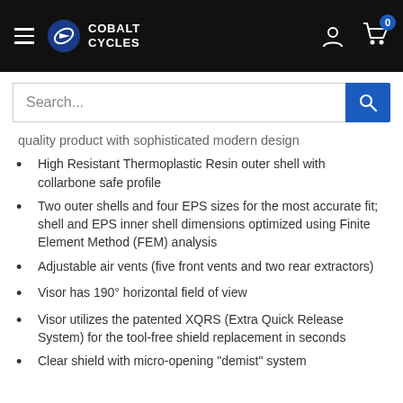Cobalt Cycles
Search...
quality product with sophisticated modern design
High Resistant Thermoplastic Resin outer shell with collarbone safe profile
Two outer shells and four EPS sizes for the most accurate fit; shell and EPS inner shell dimensions optimized using Finite Element Method (FEM) analysis
Adjustable air vents (five front vents and two rear extractors)
Visor has 190° horizontal field of view
Visor utilizes the patented XQRS (Extra Quick Release System) for the tool-free shield replacement in seconds
Clear shield with micro-opening "demist" system